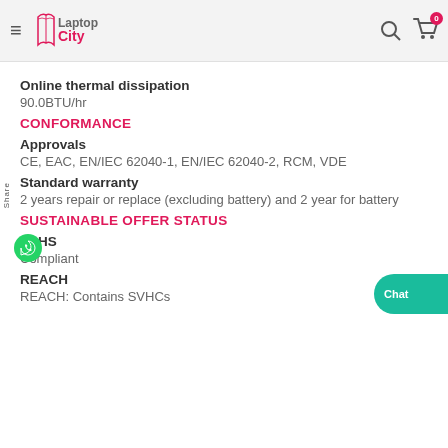Laptop City — navigation header with logo, search, and cart
Online thermal dissipation
90.0BTU/hr
CONFORMANCE
Approvals
CE, EAC, EN/IEC 62040-1, EN/IEC 62040-2, RCM, VDE
Standard warranty
2 years repair or replace (excluding battery) and 2 year for battery
SUSTAINABLE OFFER STATUS
RoHS
Compliant
REACH
REACH: Contains SVHCs